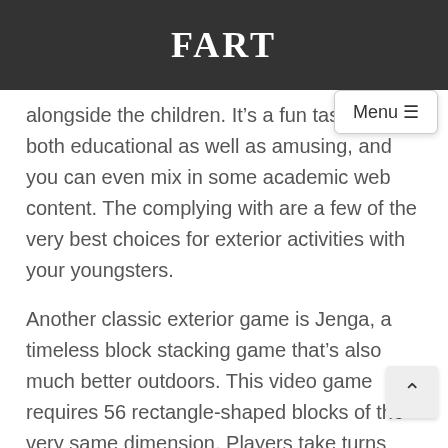FART
alongside the children. It’s a fun task that’s both educational as well as amusing, and you can even mix in some academic web content. The complying with are a few of the very best choices for exterior activities with your youngsters.
Another classic exterior game is Jenga, a timeless block stacking game that’s also much better outdoors. This video game requires 56 rectangle-shaped blocks of the very same dimension. Players take turns adding blocks to the top of the tower without knocking it down.